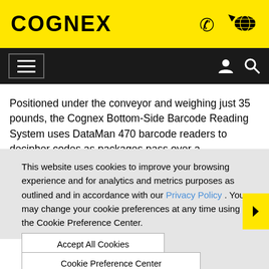COGNEX
Positioned under the conveyor and weighing just 35 pounds, the Cognex Bottom-Side Barcode Reading System uses DataMan 470 barcode readers to decipher codes as packages pass over a
This website uses cookies to improve your browsing experience and for analytics and metrics purposes as outlined and in accordance with our Privacy Policy . You may change your cookie preferences at any time using the Cookie Preference Center.
Accept All Cookies
Cookie Preference Center